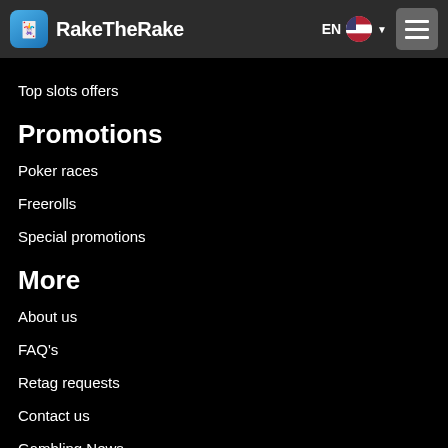RakeTheRake EN [flag] [menu]
Top slots offers
Promotions
Poker races
Freerolls
Special promotions
More
About us
FAQ's
Retag requests
Contact us
Gambling News